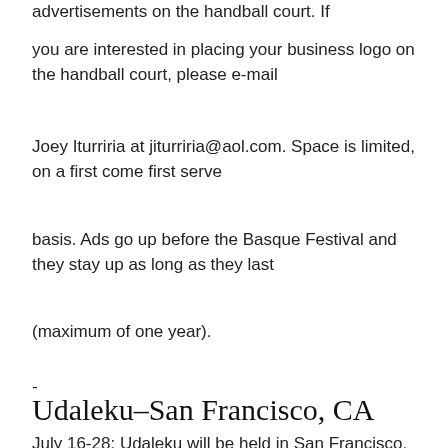advertisements on the handball court. If
you are interested in placing your business logo on the handball court, please e-mail
Joey Iturriria at jiturriria@aol.com. Space is limited, on a first come first serve
basis. Ads go up before the Basque Festival and they stay up as long as they last
(maximum of one year).
-
Udaleku-San Francisco, CA
July 16-28:  Udaleku will be held in San Francisco, CA. Registration will be some time in March.  Please check the NABO website for more information.  Register your child on